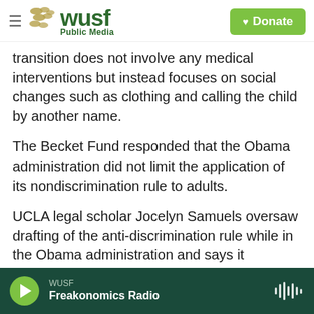WUSF Public Media — Donate
transition does not involve any medical interventions but instead focuses on social changes such as clothing and calling the child by another name.
The Becket Fund responded that the Obama administration did not limit the application of its nondiscrimination rule to adults.
UCLA legal scholar Jocelyn Samuels oversaw drafting of the anti-discrimination rule while in the Obama administration and says it reflected established legal precedent that transgender people are protected under federal sex
WUSF — Freakonomics Radio